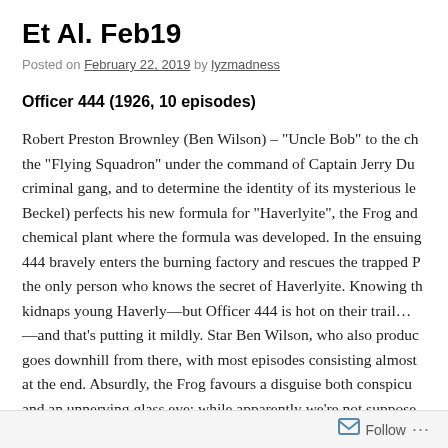Et Al. Feb19
Posted on February 22, 2019 by lyzmadness
Officer 444 (1926, 10 episodes)
Robert Preston Brownley (Ben Wilson) – "Uncle Bob" to the ch the "Flying Squadron" under the command of Captain Jerry Du criminal gang, and to determine the identity of its mysterious le Beckel) perfects his new formula for "Haverlyite", the Frog and chemical plant where the formula was developed. In the ensuing 444 bravely enters the burning factory and rescues the trapped P the only person who knows the secret of Haverlyite. Knowing th kidnaps young Haverly—but Officer 444 is hot on their trail… —and that's putting it mildly. Star Ben Wilson, who also produc goes downhill from there, with most episodes consisting almost at the end. Absurdly, the Frog favours a disguise both conspicu and an unnerving glass eye; while apparently we're not suppose eyebrows / moustache outfit, is disguised. Neva Gerber, aka Mr
Follow